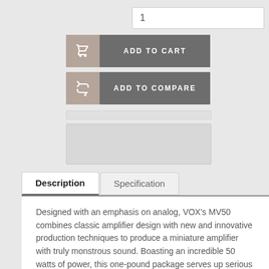[Figure (screenshot): Quantity input field showing value 1]
[Figure (screenshot): Add to Cart button with shopping cart icon on the left]
[Figure (screenshot): Add to Compare button with compare/refresh icon on the left]
[Figure (screenshot): Faded/greyed UI area placeholder]
[Figure (screenshot): Image placeholder box]
[Figure (screenshot): Description and Specification tab headers, with Description tab active]
Designed with an emphasis on analog, VOX’s MV50 combines classic amplifier design with new and innovative production techniques to produce a miniature amplifier with truly monstrous sound. Boasting an incredible 50 watts of power, this one-pound package serves up serious guitar tone that’s